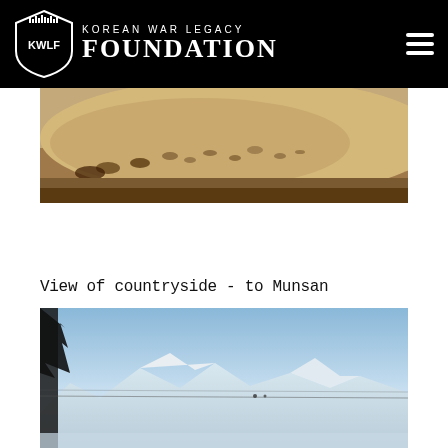KOREAN WAR LEGACY FOUNDATION
[Figure (photo): Close-up photograph of sandy/dusty ground terrain, partially cut off at top]
View of countryside - to Munsan
[Figure (photo): Photograph of Korean countryside winter landscape with mountains, blue sky, and bare tree silhouette on left edge, taken en route to Munsan]